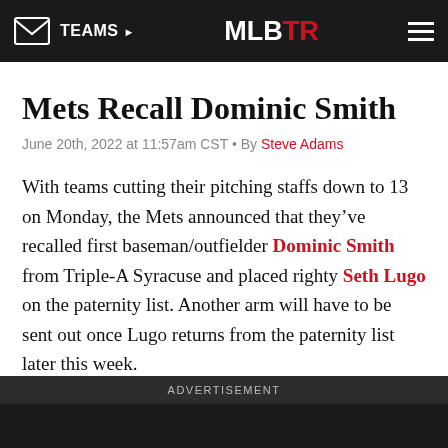TEAMS ▶ | MLBTR | ☰
Mets Recall Dominic Smith
June 20th, 2022 at 11:57am CST • By Steve Adams
With teams cutting their pitching staffs down to 13 on Monday, the Mets announced that they've recalled first baseman/outfielder Dominic Smith from Triple-A Syracuse and placed righty Seth Lugo on the paternity list. Another arm will have to be sent out once Lugo returns from the paternity list later this week.
Smith was optioned to Triple-A earlier in the month after
ADVERTISEMENT